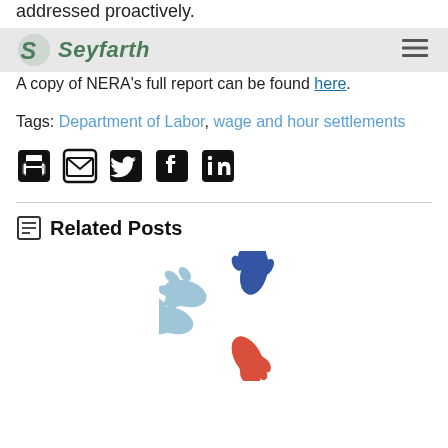addressed proactively.
Seyfarth [logo + hamburger menu]
A copy of NERA's full report can be found here.
Tags: Department of Labor, wage and hour settlements
[Figure (other): Social sharing icons: print, email, Twitter, Facebook, LinkedIn]
Related Posts
[Figure (illustration): Circular arrangement of colorful hands (red, blue, light blue) forming a teamwork symbol]